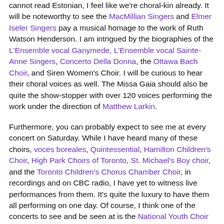cannot read Estonian, I feel like we're choral-kin already. It will be noteworthy to see the MacMillian Singers and Elmer Iseler Singers pay a musical homage to the work of Ruth Watson Henderson. I am intrigued by the biographies of the L'Ensemble vocal Ganymede, L'Ensemble vocal Sainte-Anne Singers, Concerto Della Donna, the Ottawa Bach Choir, and Siren Women's Choir. I will be curious to hear their choral voices as well. The Missa Gaia should also be quite the show-stopper with over 120 voices performing the work under the direction of Matthew Larkin.
Furthermore, you can probably expect to see me at every concert on Saturday. While I have heard many of these choirs, voces boreales, Quintessential, Hamilton Children's Choir, High Park Choirs of Toronto, St. Michael's Boy choir, and the Toronto Children's Chorus Chamber Choir, in recordings and on CBC radio, I have yet to witness live performances from them. It's quite the luxury to have them all performing on one day. Of course, I think one of the concerts to see and be seen at is the National Youth Choir (NYC) performance. Even though I will be weeping silently inside while attending this concert (I was accepted into the